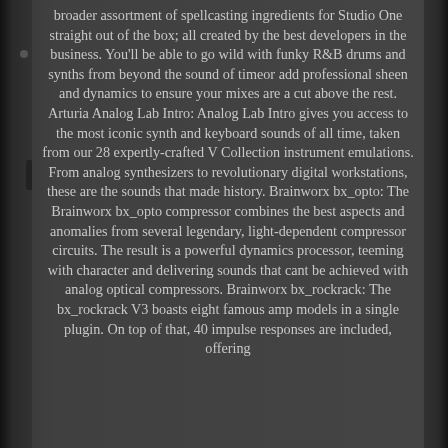broader assortment of spellcasting ingredients for Studio One straight out of the box; all created by the best developers in the business. You'll be able to go wild with funky R&B drums and synths from beyond the sound of timeor add professional sheen and dynamics to ensure your mixes are a cut above the rest. Arturia Analog Lab Intro: Analog Lab Intro gives you access to the most iconic synth and keyboard sounds of all time, taken from our 28 expertly-crafted V Collection instrument emulations. From analog synthesizers to revolutionary digital workstations, these are the sounds that made history. Brainworx bx_opto: The Brainworx bx_opto compressor combines the best aspects and anomalies from several legendary, light-dependent compressor circuits. The result is a powerful dynamics processor, teeming with character and delivering sounds that cant be achieved with analog optical compressors. Brainworx bx_rockrack: The bx_rockrack V3 boasts eight famous amp models in a single plugin. On top of that, 40 impulse responses are included, offering